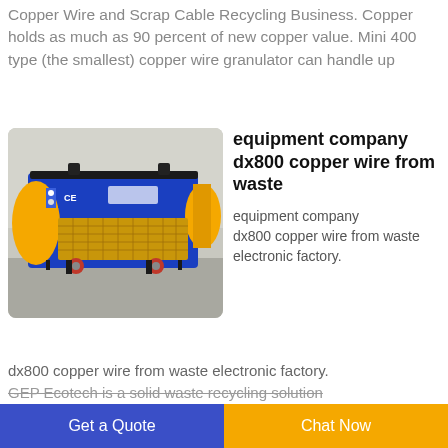Copper Wire and Scrap Cable Recycling Business. Copper holds as much as 90 percent of new copper value. Mini 400 type (the smallest) copper wire granulator can handle up
[Figure (photo): Photo of a blue and yellow DX800 copper wire granulator machine on wheels, with CE marking visible, mesh screen on front, and cylindrical yellow end piece.]
equipment company dx800 copper wire from waste
equipment company dx800 copper wire from waste electronic factory. GEP Ecotech is a solid waste recycling solution
Get a Quote
Chat Now